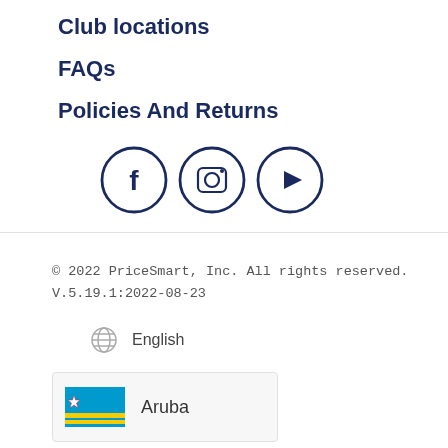Club locations
FAQs
Policies And Returns
[Figure (illustration): Three social media icons in circles: Facebook (f), Instagram (camera), YouTube (play button), in dark navy color]
© 2022 PriceSmart, Inc. All rights reserved.
V.5.19.1:2022-08-23
English
Aruba